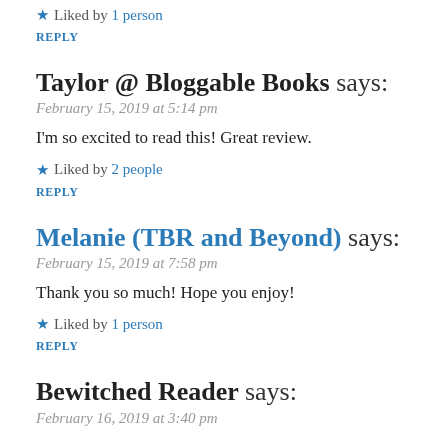★ Liked by 1 person
REPLY
Taylor @ Bloggable Books says:
February 15, 2019 at 5:14 pm
I'm so excited to read this! Great review.
★ Liked by 2 people
REPLY
Melanie (TBR and Beyond) says:
February 15, 2019 at 7:58 pm
Thank you so much! Hope you enjoy!
★ Liked by 1 person
REPLY
Bewitched Reader says:
February 16, 2019 at 3:40 pm